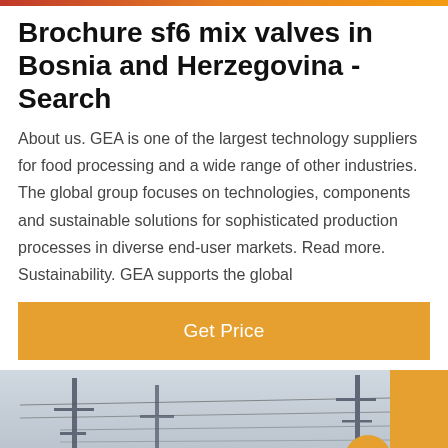Brochure sf6 mix valves in Bosnia and Herzegovina - Search
About us. GEA is one of the largest technology suppliers for food processing and a wide range of other industries. The global group focuses on technologies, components and sustainable solutions for sophisticated production processes in diverse end-user markets. Read more. Sustainability. GEA supports the global
[Figure (other): Orange 'Get Price' button]
[Figure (photo): Industrial photograph showing electrical transmission towers, cables, and a yellow structure on the right, with a dark overlay chat bar at the bottom containing 'Leave Message' on the left and 'Chat Online' on the right, and a circular avatar of a customer service representative in the center.]